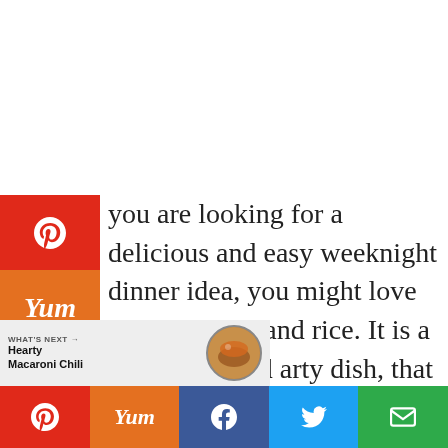[Figure (infographic): Social share sidebar with Pinterest (red), Yummly (orange), Facebook (dark blue), Twitter (light blue), email icons, share count 200, and share arrow button]
you are looking for a delicious and easy weeknight dinner idea, you might love these d beans and rice. It is a really nice and arty dish, that has authentic flavors!
s recipe calls for canned beans, which be whipped up a lot faster, than
[Figure (screenshot): What's Next banner showing Hearty Macaroni Chili with circular food image]
[Figure (infographic): Bottom share bar with Pinterest, Yummly, Facebook, Twitter, and email buttons]